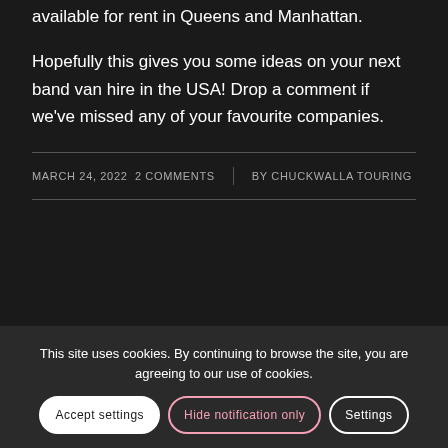16 Passenger and Mercedes Sprinter Vans available for rent in Queens and Manhattan.
Hopefully this gives you some ideas on your next band van hire in the USA! Drop a comment if we've missed any of your favourite companies.
MARCH 24, 2022  2 COMMENTS  |  BY CHUCKWALLA TOURING
This site uses cookies. By continuing to browse the site, you are agreeing to our use of cookies.
Accept settings
Hide notification only
Settings
Chuckwalla Touring is in Europe.